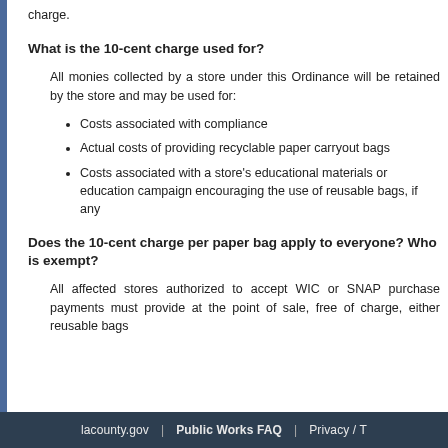charge.
What is the 10-cent charge used for?
All monies collected by a store under this Ordinance will be retained by the store and may be used for:
Costs associated with compliance
Actual costs of providing recyclable paper carryout bags
Costs associated with a store's educational materials or education campaign encouraging the use of reusable bags, if any
Does the 10-cent charge per paper bag apply to everyone? Who is exempt?
All affected stores authorized to accept WIC or SNAP purchase payments must provide at the point of sale, free of charge, either reusable bags
lacounty.gov  |  Public Works FAQ  |  Privacy / T